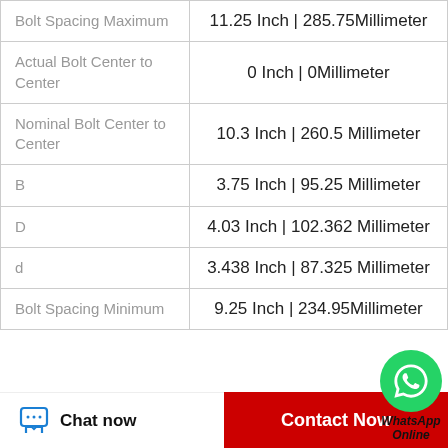| Property | Value |
| --- | --- |
| Bolt Spacing Maximum | 11.25 Inch | 285.75Millimeter |
| Actual Bolt Center to Center | 0 Inch | 0Millimeter |
| Nominal Bolt Center to Center | 10.3 Inch | 260.5 Millimeter |
| B | 3.75 Inch | 95.25 Millimeter |
| D | 4.03 Inch | 102.362 Millimeter |
| d | 3.438 Inch | 87.325 Millimeter |
| Bolt Spacing Minimum | 9.25 Inch | 234.95Millimeter |
[Figure (other): WhatsApp Online contact button overlay with green phone icon]
Chat now
Contact Now